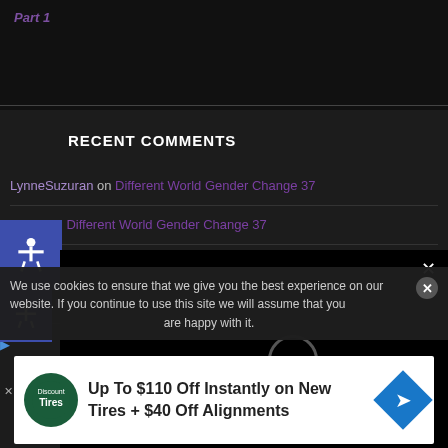Part 1
RECENT COMMENTS
LynneSuzuran on Different World Gender Change 37
Eric V on Different World Gender Change 37
...ita on But God Forced Me...
Rita on But God Forced Me...
[Figure (screenshot): Black video popup overlay with loading spinner and X close button]
We use cookies to ensure that we give you the best experience on our website. If you continue to use this site we will assume that you are happy with it.
[Figure (infographic): Advertisement banner: Up To $110 Off Instantly on New Tires + $40 Off Alignments]